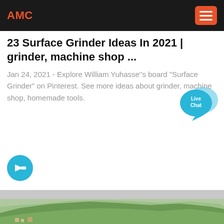AMC
23 Surface Grinder Ideas In 2021 | grinder, machine shop ...
Jan 24, 2021 - Explore William Yuhasse''s board "Surface Grinder" on Pinterest. See more ideas about grinder, machine shop, homemade tools.
[Figure (illustration): Live Chat speech bubble icon in blue]
[Figure (illustration): Blue circle with white right-pointing arrow button]
[Figure (photo): Landscape photo showing green hills and mountains with a small town visible at the base]